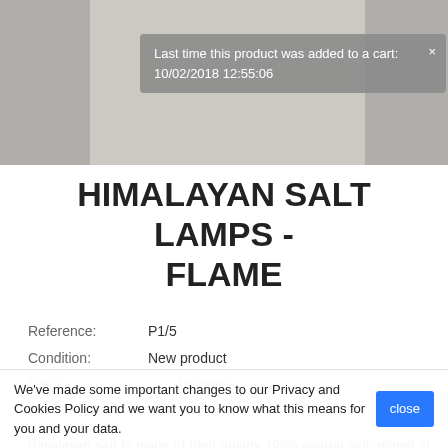[Figure (photo): Product photo area showing top portion of a Himalayan salt lamp with a tooltip overlay. Tooltip reads: 'Last time this product was added to a cart: 10/02/2018 12:55:06']
HIMALAYAN SALT LAMPS - FLAME
Reference:   P1/5
Condition:   New product
Stock:         10 Items
Himalayan salt is made of high quality 100% natural salt, mined in the mountains of the Himalayas. Negative ions emitted from the Himalayan salt candlesticks and lamps, improve mood, reduces anxiety, stress, improves sleep quality and well-being. Negative ions of Himalayan salt clean the air of dust, pollen, mold, spores of plants
We've made some important changes to our Privacy and Cookies Policy and we want you to know what this means for you and your data.